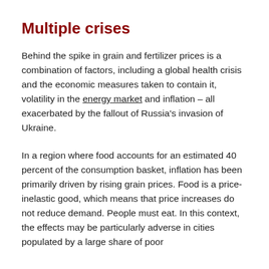Multiple crises
Behind the spike in grain and fertilizer prices is a combination of factors, including a global health crisis and the economic measures taken to contain it, volatility in the energy market and inflation – all exacerbated by the fallout of Russia's invasion of Ukraine.
In a region where food accounts for an estimated 40 percent of the consumption basket, inflation has been primarily driven by rising grain prices. Food is a price-inelastic good, which means that price increases do not reduce demand. People must eat. In this context, the effects may be particularly adverse in cities populated by a large share of poor